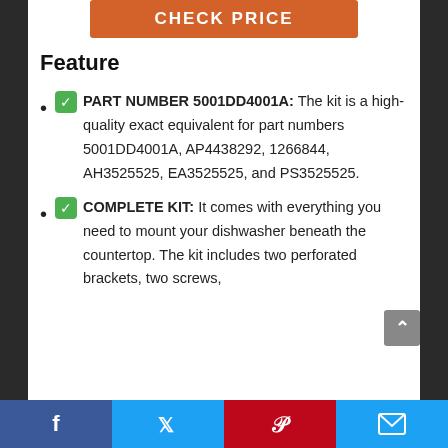[Figure (other): Orange CHECK PRICE button at top of page]
Feature
✅ PART NUMBER 5001DD4001A: The kit is a high-quality exact equivalent for part numbers 5001DD4001A, AP4438292, 1266844, AH3525525, EA3525525, and PS3525525.
✅ COMPLETE KIT: It comes with everything you need to mount your dishwasher beneath the countertop. The kit includes two perforated brackets, two screws,
Facebook  Twitter  Pinterest  Email